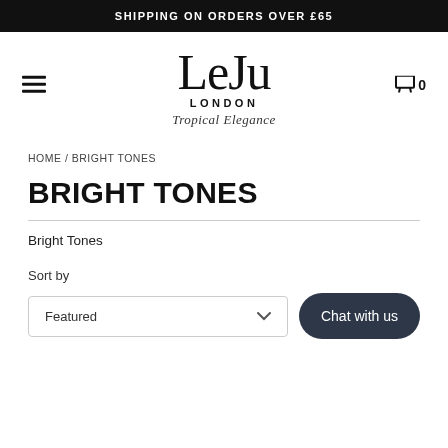SHIPPING ON ORDERS OVER £65
[Figure (logo): LeJu London logo with tagline Tropical Elegance]
HOME / BRIGHT TONES
BRIGHT TONES
Bright Tones
Sort by
Featured
Chat with us